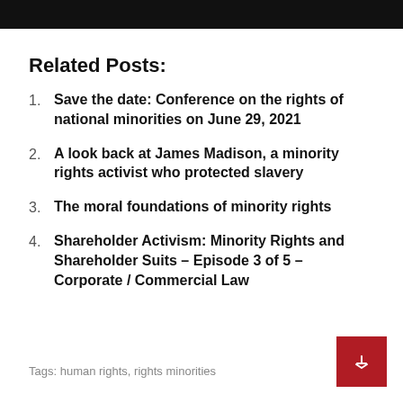Related Posts:
Save the date: Conference on the rights of national minorities on June 29, 2021
A look back at James Madison, a minority rights activist who protected slavery
The moral foundations of minority rights
Shareholder Activism: Minority Rights and Shareholder Suits – Episode 3 of 5 – Corporate / Commercial Law
Tags: human rights, rights minorities